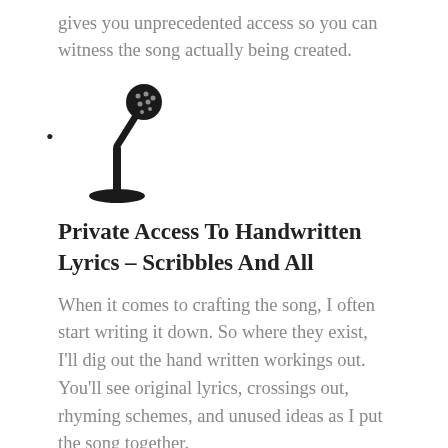gives you unprecedented access so you can witness the song actually being created.
[Figure (illustration): Microphone icon on a stand, black silhouette, with a bullet point to the left]
Private Access To Handwritten Lyrics – Scribbles And All
When it comes to crafting the song, I often start writing it down. So where they exist, I'll dig out the hand written workings out. You'll see original lyrics, crossings out, rhyming schemes, and unused ideas as I put the song together.
[Figure (illustration): Circular icon with an exclamation mark, partially visible at bottom of page]